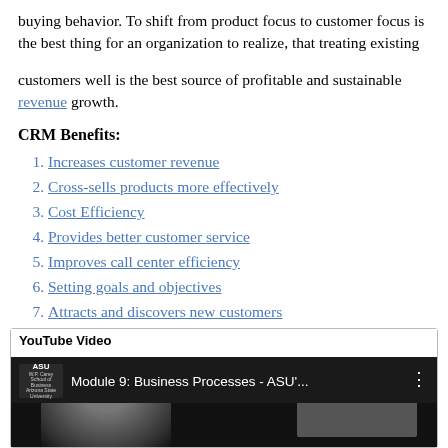buying behavior. To shift from product focus to customer focus is the best thing for an organization to realize, that treating existing
customers well is the best source of profitable and sustainable revenue growth.
CRM Benefits:
Increases customer revenue
Cross-sells products more effectively
Cost Efficiency
Provides better customer service
Improves call center efficiency
Setting goals and objectives
Attracts and discovers new customers
[Figure (screenshot): YouTube video embed showing 'Module 9: Business Processes - ASU'...' with ASU logo and a person visible in the thumbnail]